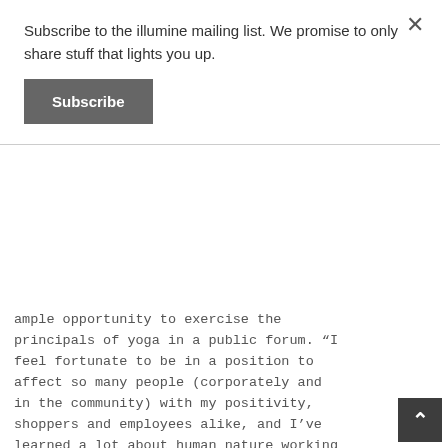Subscribe to the illumine mailing list. We promise to only share stuff that lights you up.
Subscribe
ample opportunity to exercise the principals of yoga in a public forum. “I feel fortunate to be in a position to affect so many people (corporately and in the community) with my positivity, shoppers and employees alike, and I’ve learned a lot about human nature working in a grocery store for 10 years.”
Laura’s favorite things Pose: Ekapada Rajakapotasana ~ King Pigeon Mudra - Sanmuki ~ Closing off the Senses